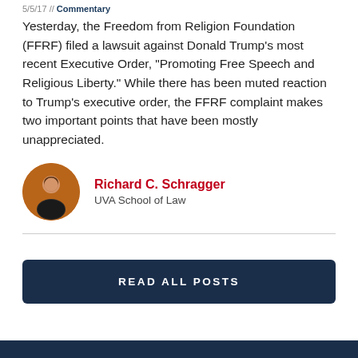5/5/17 // Commentary
Yesterday, the Freedom from Religion Foundation (FFRF) filed a lawsuit against Donald Trump’s most recent Executive Order, “Promoting Free Speech and Religious Liberty.” While there has been muted reaction to Trump’s executive order, the FFRF complaint makes two important points that have been mostly unappreciated.
Richard C. Schragger
UVA School of Law
READ ALL POSTS